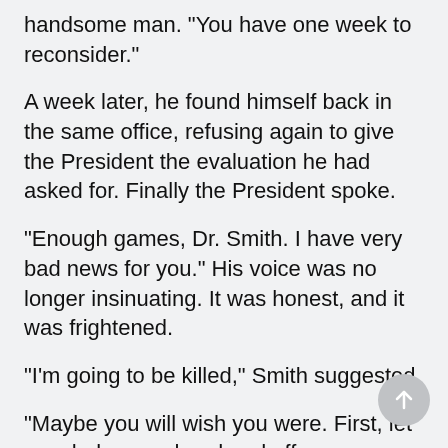handsome man. "You have one week to reconsider."
A week later, he found himself back in the same office, refusing again to give the President the evaluation he had asked for. Finally the President spoke.
"Enough games, Dr. Smith. I have very bad news for you." His voice was no longer insinuating. It was honest, and it was frightened.
"I'm going to be killed," Smith suggested.
"Maybe you will wish you were. First, let me shake your hand and offer you my deepest respects."
Dr. Smith did not take his hand.